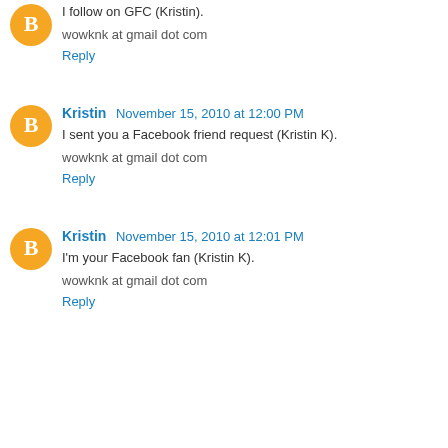I follow on GFC (Kristin).
wowknk at gmail dot com
Reply
Kristin  November 15, 2010 at 12:00 PM
I sent you a Facebook friend request (Kristin K).
wowknk at gmail dot com
Reply
Kristin  November 15, 2010 at 12:01 PM
I'm your Facebook fan (Kristin K).
wowknk at gmail dot com
Reply